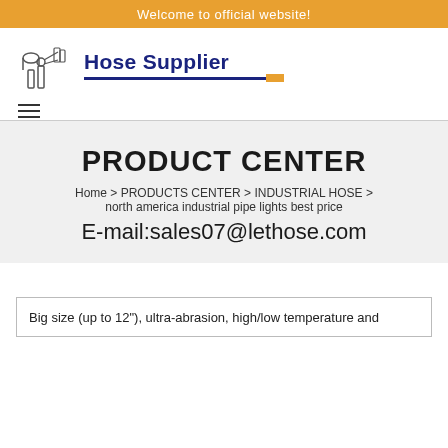Welcome to official website!
[Figure (logo): Hose Supplier logo with industrial pipe/hose icon and blue underline with orange accent]
[Figure (other): Hamburger menu icon (three horizontal lines)]
PRODUCT CENTER
Home > PRODUCTS CENTER > INDUSTRIAL HOSE > north america industrial pipe lights best price
E-mail:sales07@lethose.com
Big size (up to 12"), ultra-abrasion, high/low temperature and